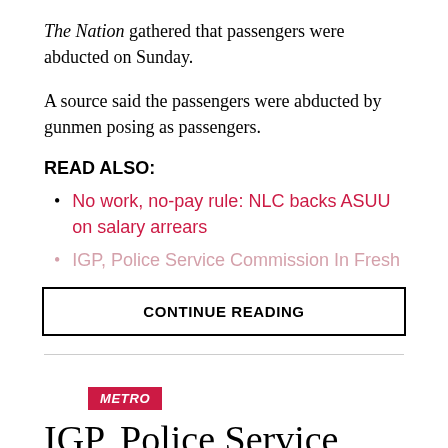The Nation gathered that passengers were abducted on Sunday.
A source said the passengers were abducted by gunmen posing as passengers.
READ ALSO:
No work, no-pay rule: NLC backs ASUU on salary arrears
IGP, Police Service Commission In Fresh
CONTINUE READING
METRO
IGP, Police Service